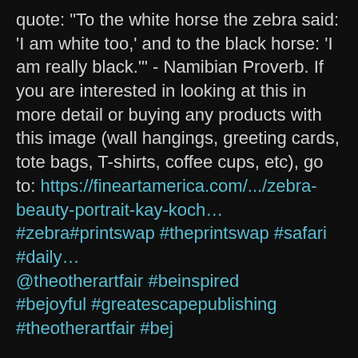quote: "To the white horse the zebra said: 'I am white too,' and to the black horse: 'I am really black.'" - Namibian Proverb. If you are interested in looking at this in more detail or buying any products with this image (wall hangings, greeting cards, tote bags, T-shirts, coffee cups, etc), go to: https://fineartamerica.com/.../zebra-beauty-portrait-kay-koch… #zebra#printswap #theprintswap #safari #daily @theotherartfair #beinspired #bejoyful #greatescapepublishing #theotherartfair #bej Updated information. This "Zebra Portrait" has been very popular. I sold three copies of it at my May 18, 2019 Solo Exhibition at the Husar Fine Art Gallery in Beverly Hills. For more information about